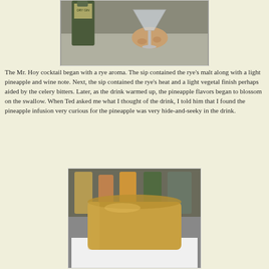[Figure (photo): A hand holding a martini glass on a bar counter with a bottle of dry gin in the background]
The Mr. Hoy cocktail began with a rye aroma. The sip contained the rye's malt along with a light pineapple and wine note. Next, the sip contained the rye's heat and a light vegetal finish perhaps aided by the celery bitters. Later, as the drink warmed up, the pineapple flavors began to blossom on the swallow. When Ted asked me what I thought of the drink, I told him that I found the pineapple infusion very curious for the pineapple was very hide-and-seeky in the drink.
[Figure (photo): A glass of golden/orange colored cocktail drink on a white napkin with bottles in the background]